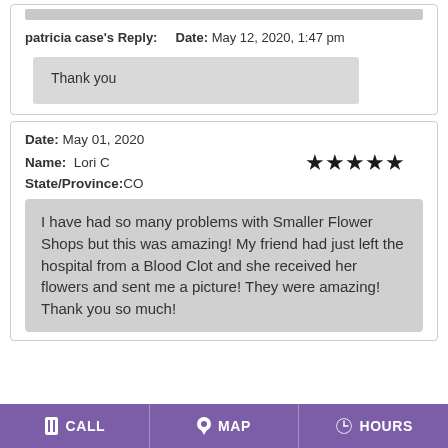patricia case's Reply:    Date: May 12, 2020, 1:47 pm
Thank you
Date: May 01, 2020
Name: Lori C
State/Province:CO
I have had so many problems with Smaller Flower Shops but this was amazing! My friend had just left the hospital from a Blood Clot and she received her flowers and sent me a picture! They were amazing! Thank you so much!
CALL   MAP   HOURS